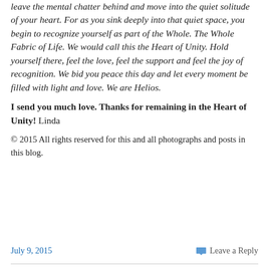leave the mental chatter behind and move into the quiet solitude of your heart. For as you sink deeply into that quiet space, you begin to recognize yourself as part of the Whole. The Whole Fabric of Life. We would call this the Heart of Unity. Hold yourself there, feel the love, feel the support and feel the joy of recognition. We bid you peace this day and let every moment be filled with light and love. We are Helios.
I send you much love. Thanks for remaining in the Heart of Unity! Linda
© 2015 All rights reserved for this and all photographs and posts in this blog.
July 9, 2015    Leave a Reply